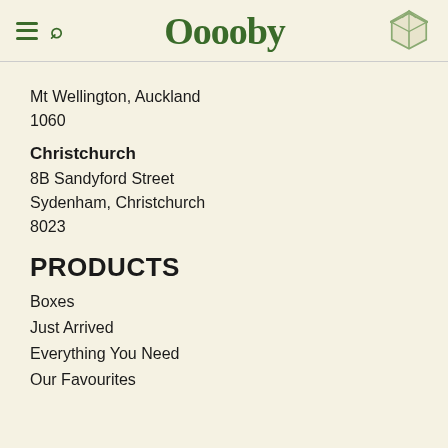Ooooby
Mt Wellington, Auckland
1060
Christchurch
8B Sandyford Street
Sydenham, Christchurch
8023
PRODUCTS
Boxes
Just Arrived
Everything You Need
Our Favourites